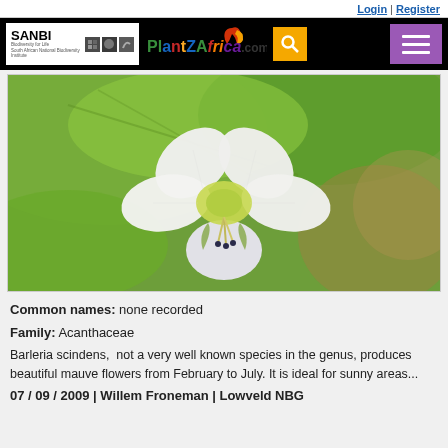Login | Register
[Figure (logo): SANBI and PlantZAfrica.com website header with search and menu buttons on black background]
[Figure (photo): Close-up photograph of a white Barleria scindens flower with five petals, green center, and green leaves in the background]
Common names: none recorded
Family: Acanthaceae
Barleria scindens,  not a very well known species in the genus, produces beautiful mauve flowers from February to July. It is ideal for sunny areas...
07 / 09 / 2009 | Willem Froneman | Lowveld NBG